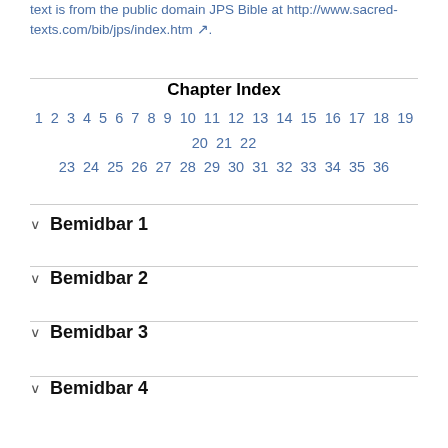text is from the public domain JPS Bible at http://www.sacred-texts.com/bib/jps/index.htm.
Chapter Index
1 2 3 4 5 6 7 8 9 10 11 12 13 14 15 16 17 18 19 20 21 22 23 24 25 26 27 28 29 30 31 32 33 34 35 36
Bemidbar 1
Bemidbar 2
Bemidbar 3
Bemidbar 4